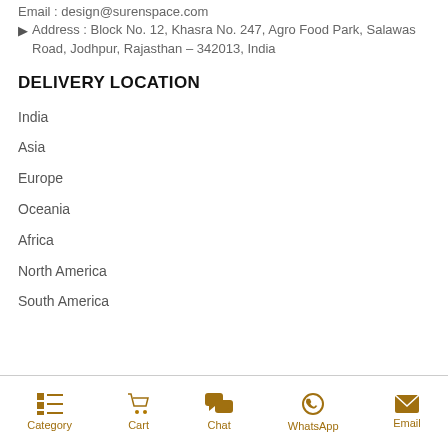Email : design@surenspace.com
Address : Block No. 12, Khasra No. 247, Agro Food Park, Salawas Road, Jodhpur, Rajasthan – 342013, India
DELIVERY LOCATION
India
Asia
Europe
Oceania
Africa
North America
South America
Category  Cart  Chat  WhatsApp  Email